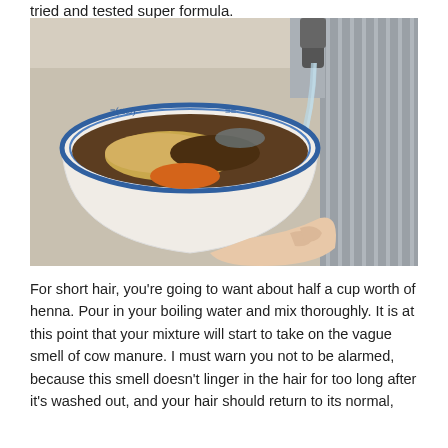tried and tested super formula.
[Figure (photo): A white bowl with blue decorative rim containing henna powder (tan/yellow), dark brown paste, and orange turmeric powder. Water is being poured into the bowl from a faucet. A hand holds the bowl. The scene is set near a kitchen sink with a metal background.]
For short hair, you're going to want about half a cup worth of henna. Pour in your boiling water and mix thoroughly. It is at this point that your mixture will start to take on the vague smell of cow manure. I must warn you not to be alarmed, because this smell doesn't linger in the hair for too long after it's washed out, and your hair should return to its normal,